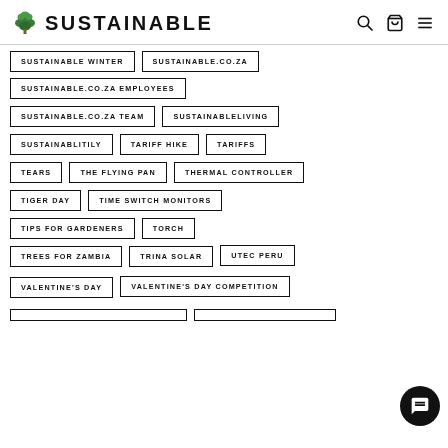SUSTAINABLE
SUSTAINABLE WINTER
SUSTAINABLE.CO.ZA
SUSTAINABLE.CO.ZA EMPLOYEES
SUSTAINABLE.CO.ZA TEAM
SUSTAINABLELIVING
SUSTAINABLITILY
TARIFF HIKE
TARIFFS
TEARS
THE FLYING PAN
THERMAL CONTROLLER
TIGER DAY
TIME SWITCH MONITORS
TIPS FOR GARDENERS
TORCH
TREES FOR ZAMBIA
TRINA SOLAR
UTEC PERU
VALENTINE'S DAY
VALENTINE'S DAY COMPETITION